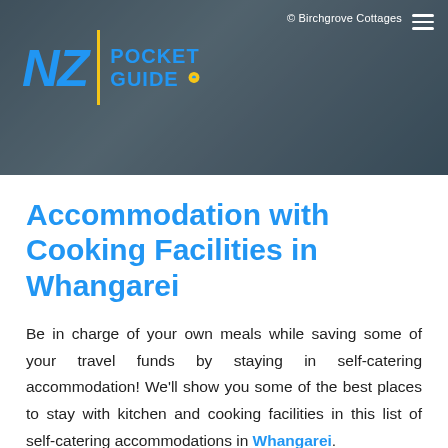[Figure (photo): Header photo of NZ Pocket Guide website showing a dark/blurred background with the NZ Pocket Guide logo on the left and a copyright notice for Birchgrove Cottages on the right.]
Accommodation with Cooking Facilities in Whangarei
Be in charge of your own meals while saving some of your travel funds by staying in self-catering accommodation! We'll show you some of the best places to stay with kitchen and cooking facilities in this list of self-catering accommodations in Whangarei.